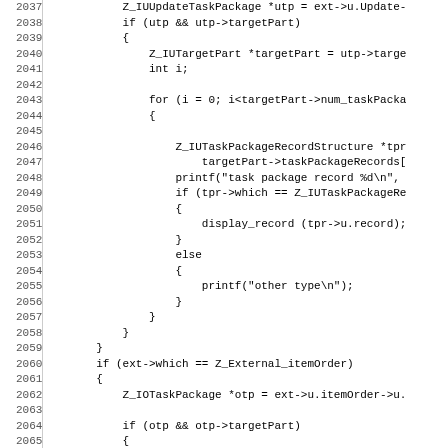Source code listing, lines 2037-2068, showing C code for handling Z_IUUpdateTaskPackage, targetPart iteration, Z_IOTaskPackage, and Z_External_itemOrder handling.